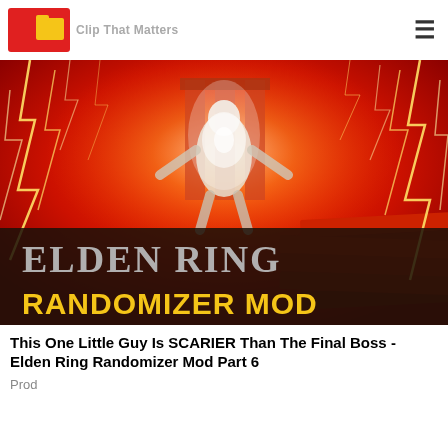Gaming/multimedia website header with logo and hamburger menu
[Figure (screenshot): Elden Ring Randomizer Mod thumbnail image showing a boss character surrounded by red lightning, with 'ELDEN RING' in silver text and 'RANDOMIZER MOD' in yellow text on a dark banner at the bottom]
This One Little Guy Is SCARIER Than The Final Boss - Elden Ring Randomizer Mod Part 6
Prod